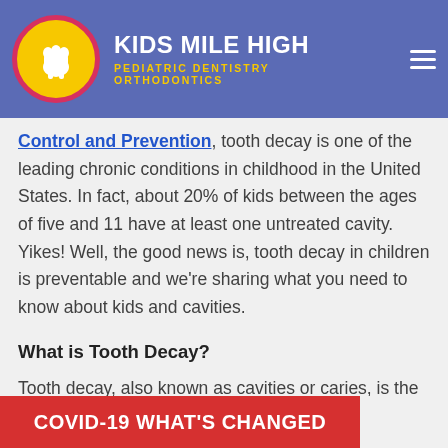Kids Mile High Pediatric Dentistry Orthodontics
According to the Centers for Disease Control and Prevention, tooth decay is one of the leading chronic conditions in childhood in the United States. In fact, about 20% of kids between the ages of five and 11 have at least one untreated cavity. Yikes! Well, the good news is, tooth decay in children is preventable and we're sharing what you need to know about kids and cavities.
What is Tooth Decay?
Tooth decay, also known as cavities or caries, is the destruction of the structure of the
COVID-19 WHAT'S CHANGED